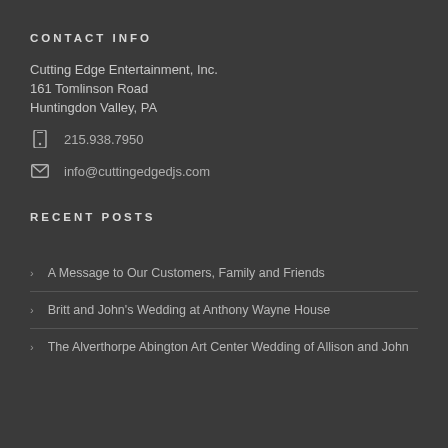CONTACT INFO
Cutting Edge Entertainment, Inc.
161 Tomlinson Road
Huntingdon Valley, PA
215.938.7950
info@cuttingedgedjs.com
RECENT POSTS
A Message to Our Customers, Family and Friends
Britt and John's Wedding at Anthony Wayne House
The Alverthorpe Abington Art Center Wedding of Allison and John